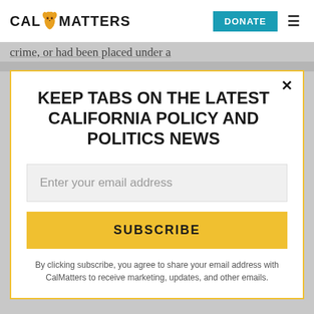CAL MATTERS | DONATE
crime, or had been placed under a
KEEP TABS ON THE LATEST CALIFORNIA POLICY AND POLITICS NEWS
Enter your email address
SUBSCRIBE
By clicking subscribe, you agree to share your email address with CalMatters to receive marketing, updates, and other emails.
State Sen. Jim Nielsen, a Red Bluff Republican: “There is no dang